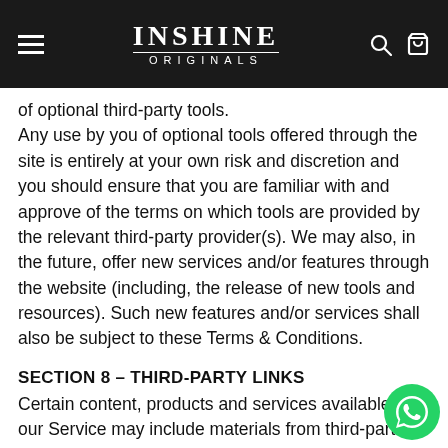INSHINE ORIGINALS
of optional third-party tools.
Any use by you of optional tools offered through the site is entirely at your own risk and discretion and you should ensure that you are familiar with and approve of the terms on which tools are provided by the relevant third-party provider(s).
We may also, in the future, offer new services and/or features through the website (including, the release of new tools and resources). Such new features and/or services shall also be subject to these Terms & Conditions.
SECTION 8 – THIRD-PARTY LINKS
Certain content, products and services available via our Service may include materials from third-parties.
Third-party links on this site may direct you to